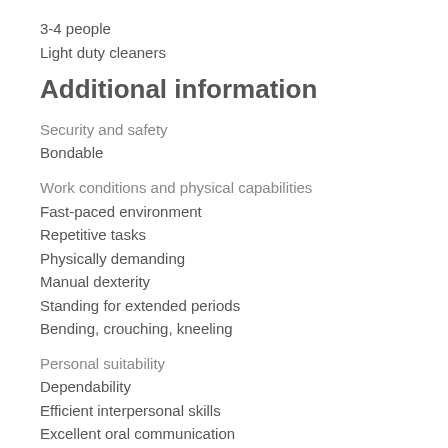3-4 people
Light duty cleaners
Additional information
Security and safety
Bondable
Work conditions and physical capabilities
Fast-paced environment
Repetitive tasks
Physically demanding
Manual dexterity
Standing for extended periods
Bending, crouching, kneeling
Personal suitability
Dependability
Efficient interpersonal skills
Excellent oral communication
Flexibility